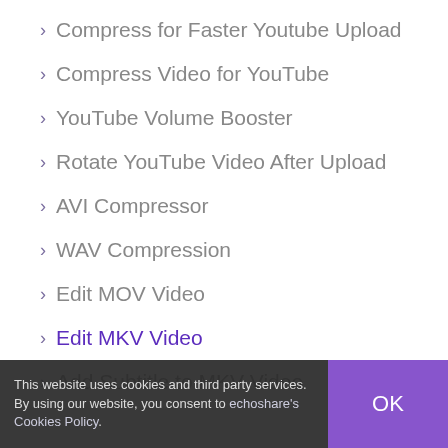Compress for Faster Youtube Upload
Compress Video for YouTube
YouTube Volume Booster
Rotate YouTube Video After Upload
AVI Compressor
WAV Compression
Edit MOV Video
Edit MKV Video
Add Subtitle to MKV Video
This website uses cookies and third party services. By using our website, you consent to echoshare's Cookies Policy.